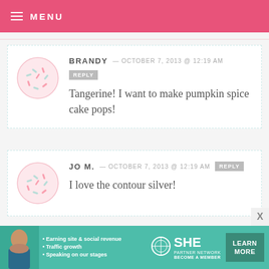MENU
BRANDY — OCTOBER 7, 2013 @ 12:19 AM  REPLY
Tangerine! I want to make pumpkin spice cake pops!
JO M. — OCTOBER 7, 2013 @ 12:19 AM  REPLY
I love the contour silver!
[Figure (infographic): SHE Partner Network advertisement banner with photo of a woman, bullet points about earning site & social revenue, traffic growth, speaking on our stages, and a Learn More button]